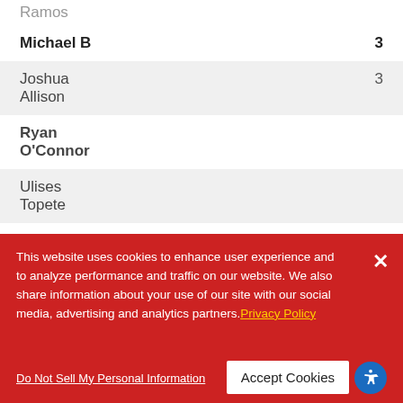| Name | Count |
| --- | --- |
| Ramos |  |
| Michael B | 3 |
| Joshua Allison | 3 |
| Ryan O'Connor |  |
| Ulises Topete |  |
| Ardell Garrett | 2 |
| Gage Puentes |  |
This website uses cookies to enhance user experience and to analyze performance and traffic on our website. We also share information about your use of our site with our social media, advertising and analytics partners. Privacy Policy
Do Not Sell My Personal Information
Accept Cookies